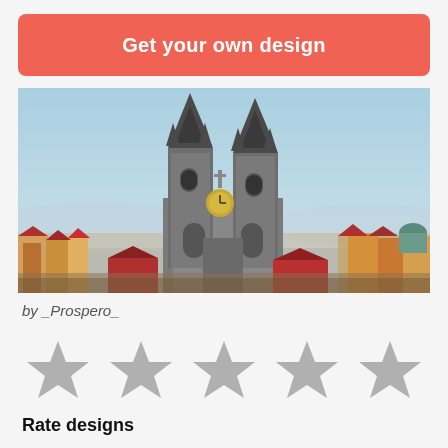Get your own design
[Figure (photo): Aerial cityscape photo of Prague showing the Church of Our Lady before Týn with its distinctive Gothic twin spires, surrounded by colorful rooftops under a clear blue sky.]
by _Prospero_
[Figure (other): Five empty grey star rating icons in a horizontal row]
Rate designs